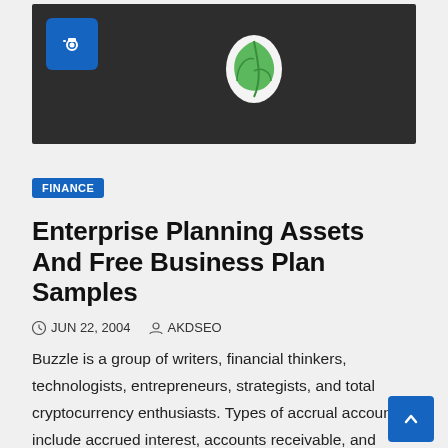[Figure (photo): Dark header image with a camera icon on a blue square and a white/green leaf logo on a dark background]
FINANCE
Enterprise Planning Assets And Free Business Plan Samples
JUN 22, 2004   AKDSEO
Buzzle is a group of writers, financial thinkers, technologists, entrepreneurs, strategists, and total cryptocurrency enthusiasts. Types of accrual accounts include accrued interest, accounts receivable, and accounts payable. The financial plan…